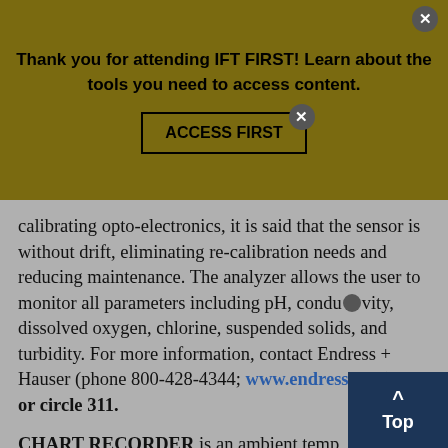Thank you for attending IFT FIRST! Learn about the tools you need to access content. ACCESS FIRST
calibrating opto-electronics, it is said that the sensor is without drift, eliminating re-calibration needs and reducing maintenance. The analyzer allows the user to monitor all parameters including pH, conductivity, dissolved oxygen, chlorine, suspended solids, and turbidity. For more information, contact Endress + Hauser (phone 800-428-4344; www.endress.com) —or circle 311.
CHART RECORDER is an ambient temperature chart recorder designed for refrigerators,